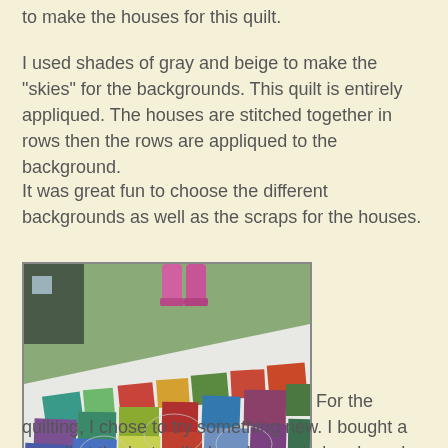to make the houses for this quilt.
I used shades of gray and beige to make the "skies" for the backgrounds. This quilt is entirely appliqued. The houses are stitched together in rows then the rows are appliqued to the background.
It was great fun to choose the different backgrounds as well as the scraps for the houses.
[Figure (photo): A colorful patchwork quilt spread on grass outdoors, showing appliqued house blocks in bright scrappy fabrics including teal, green, red, yellow, purple and blue on a white background. Two legs in pink boots are visible at the top.]
For the quilting, I chose to try something new. I bought a stencil at the last quilt show I attended and used that as a guide for free-motion quilting. The stencil I bought has swirls on it and I wanted to